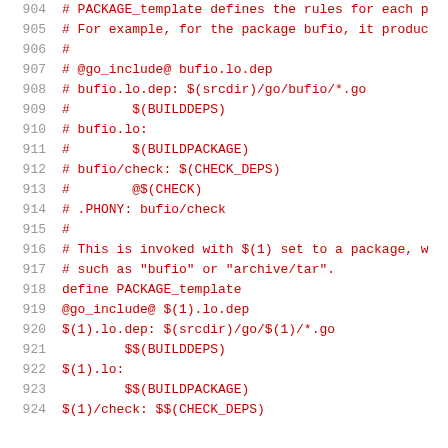[Figure (screenshot): Source code listing showing Makefile lines 904-924 with line numbers on the left in gray and code in dark red monospace font. Content includes PACKAGE_template Makefile rules for Go packages.]